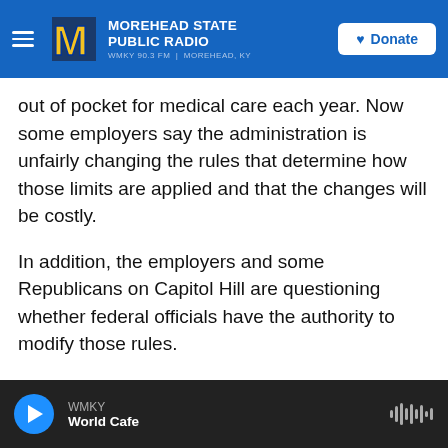Morehead State Public Radio | WMKY 90.3 FM | Morehead, KY | Donate
out of pocket for medical care each year. Now some employers say the administration is unfairly changing the rules that determine how those limits are applied and that the changes will be costly.
In addition, the employers and some Republicans on Capitol Hill are questioning whether federal officials have the authority to modify those rules.
Under the health law, the maximum that a consumer with individual coverage can be required to pay in deductibles, copayments and coinsurance for in-network care is $6,600. People with family
WMKY | World Cafe